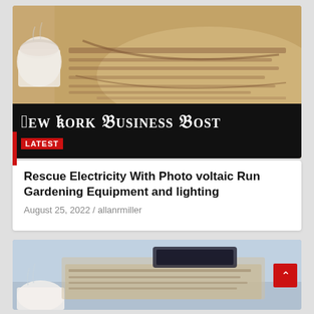[Figure (photo): Folded newspaper stack with coffee cup in upper left, warm brown tones, newspaper text visible]
New York Business Post
LATEST
Rescue Electricity With Photo voltaic Run Gardening Equipment and lighting
August 25, 2022 / allanrmiller
[Figure (photo): Folded newspaper stack with coffee cup and blue-gray toned background, scroll-to-top button visible in lower right]